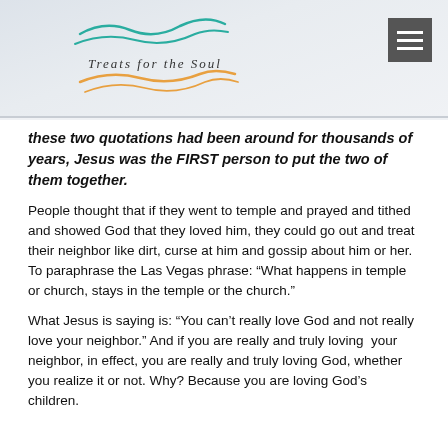Treats for the Soul
these two quotations had been around for thousands of years, Jesus was the FIRST person to put the two of them together.
People thought that if they went to temple and prayed and tithed and showed God that they loved him, they could go out and treat their neighbor like dirt, curse at him and gossip about him or her. To paraphrase the Las Vegas phrase: “What happens in temple or church, stays in the temple or the church.”
What Jesus is saying is: “You can’t really love God and not really love your neighbor.” And if you are really and truly loving your neighbor, in effect, you are really and truly loving God, whether you realize it or not. Why? Because you are loving God’s children.